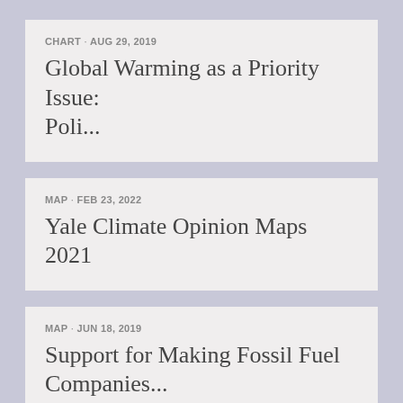CHART · AUG 29, 2019
Global Warming as a Priority Issue: Poli...
MAP · FEB 23, 2022
Yale Climate Opinion Maps 2021
MAP · JUN 18, 2019
Support for Making Fossil Fuel Companies...
MAP · MAR 8, 2019